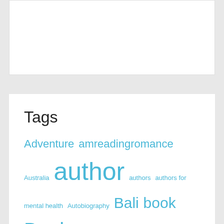Tags
Adventure amreadingromance Australia author authors authors for mental health Autobiography Bali book Books book series characters Christmas Coffee Cover Reveal cozy mystery debut novel digital nomad editing family Fiction friends Friendship Greece Hawaii Hiking home Humour inspiration Las Vegas Life London Long-term travel Los Angeles love Maui meme Mental Health Minnesota moving mystery New year New